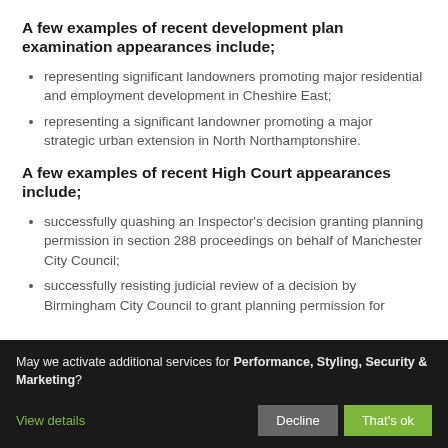A few examples of recent development plan examination appearances include;
representing significant landowners promoting major residential and employment development in Cheshire East;
representing a significant landowner promoting a major strategic urban extension in North Northamptonshire.
A few examples of recent High Court appearances include;
successfully quashing an Inspector's decision granting planning permission in section 288 proceedings on behalf of Manchester City Council;
successfully resisting judicial review of a decision by Birmingham City Council to grant planning permission for
May we activate additional services for Performance, Styling, Security & Marketing?